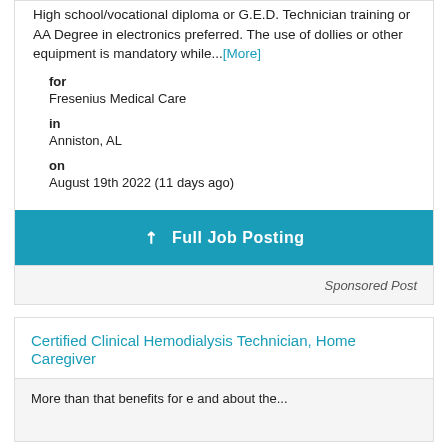High school/vocational diploma or G.E.D. Technician training or AA Degree in electronics preferred. The use of dollies or other equipment is mandatory while...[More]
for
Fresenius Medical Care
in
Anniston, AL
on
August 19th 2022 (11 days ago)
✓ Full Job Posting
Sponsored Post
Certified Clinical Hemodialysis Technician, Home Caregiver
More than that benefits for e and about the...